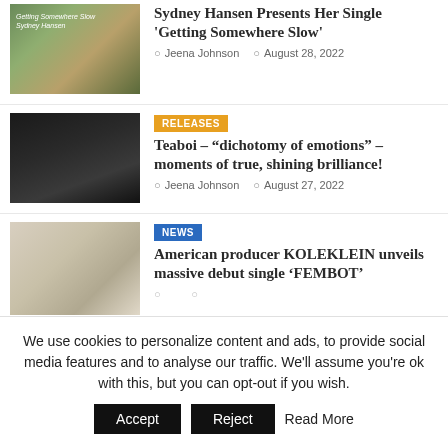[Figure (photo): Thumbnail photo for Sydney Hansen single 'Getting Somewhere Slow', green outdoor background]
Sydney Hansen Presents Her Single 'Getting Somewhere Slow'
Jeena Johnson  August 28, 2022
[Figure (photo): Dark black and white photo of a person for Teaboi article]
RELEASES
Teaboi – "dichotomy of emotions" – moments of true, shining brilliance!
Jeena Johnson  August 27, 2022
[Figure (photo): Photo of a person in black clothing for KOLEKLEIN article]
NEWS
American producer KOLEKLEIN unveils massive debut single 'FEMBOT'
We use cookies to personalize content and ads, to provide social media features and to analyse our traffic. We'll assume you're ok with this, but you can opt-out if you wish.  Accept  Reject  Read More